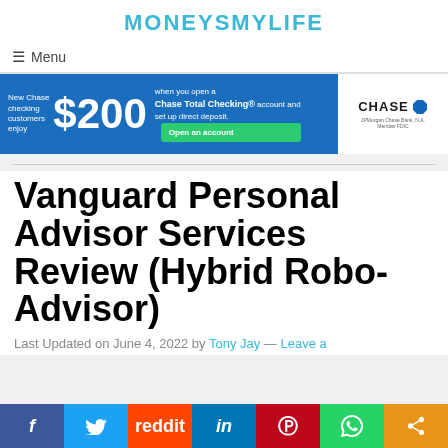MONEYSMYLIFE
≡  Menu
[Figure (illustration): Chase bank advertisement banner. Blue background with text: 'New Chase checking customers enjoy $200 when you open a Chase Total Checking® account and set up direct deposit.' Green 'Open an account' button. White Chase logo section on right with octagon symbol and fine print.]
Vanguard Personal Advisor Services Review (Hybrid Robo-Advisor)
Last Updated on June 4, 2022 by Tony Jay — Leave a
[Figure (other): Social share bar with icons for Facebook, Twitter, Reddit, LinkedIn, Pinterest, WhatsApp, and Share.]